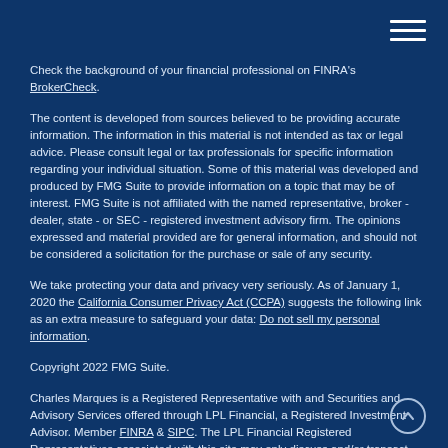Check the background of your financial professional on FINRA's BrokerCheck.
The content is developed from sources believed to be providing accurate information. The information in this material is not intended as tax or legal advice. Please consult legal or tax professionals for specific information regarding your individual situation. Some of this material was developed and produced by FMG Suite to provide information on a topic that may be of interest. FMG Suite is not affiliated with the named representative, broker - dealer, state - or SEC - registered investment advisory firm. The opinions expressed and material provided are for general information, and should not be considered a solicitation for the purchase or sale of any security.
We take protecting your data and privacy very seriously. As of January 1, 2020 the California Consumer Privacy Act (CCPA) suggests the following link as an extra measure to safeguard your data: Do not sell my personal information.
Copyright 2022 FMG Suite.
Charles Marques is a Registered Representative with and Securities and Advisory Services offered through LPL Financial, a Registered Investment Advisor. Member FINRA & SIPC. The LPL Financial Registered Representatives associated with this site may only discuss and/or transact securities business with residents of the following states: FL, OH